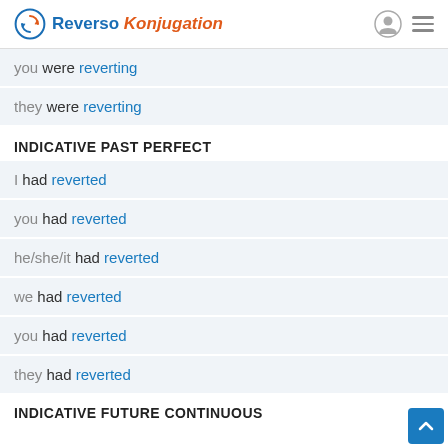Reverso Konjugation
you were reverting
they were reverting
INDICATIVE PAST PERFECT
I had reverted
you had reverted
he/she/it had reverted
we had reverted
you had reverted
they had reverted
INDICATIVE FUTURE CONTINUOUS